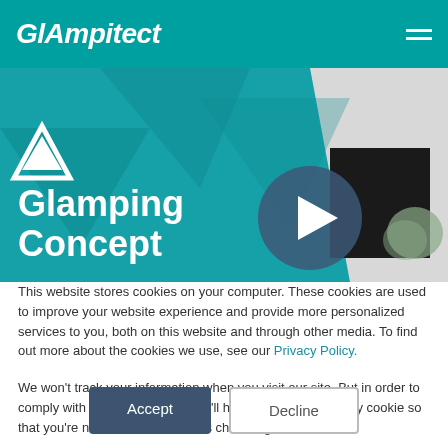GlAmpitect
[Figure (screenshot): Glamping Concept hero banner with teal background, geometric shapes, triangle logo, and video play button]
This website stores cookies on your computer. These cookies are used to improve your website experience and provide more personalized services to you, both on this website and through other media. To find out more about the cookies we use, see our Privacy Policy.
We won't track your information when you visit our site. But in order to comply with your preferences, we'll have to use just one tiny cookie so that you're not asked to make this choice again.
Accept | Decline